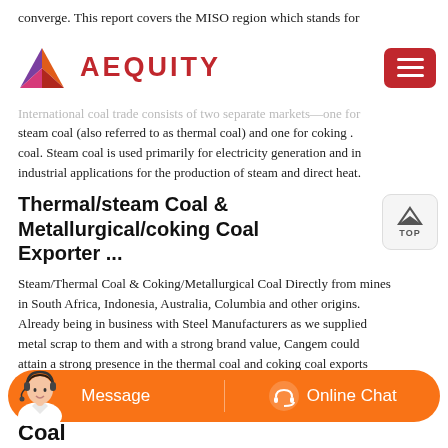converge. This report covers the MISO region which stands for
[Figure (logo): Aequity logo with geometric diamond/arrow shape in purple, pink, orange and red colors, followed by 'AEQUITY' text in red, and a red hamburger menu button on the right]
International coal trade consists of two separate markets—one for steam coal (also referred to as thermal coal) and one for coking . coal. Steam coal is used primarily for electricity generation and in industrial applications for the production of steam and direct heat.
Thermal/steam Coal & Metallurgical/coking Coal Exporter ...
Steam/Thermal Coal & Coking/Metallurgical Coal Directly from mines in South Africa, Indonesia, Australia, Columbia and other origins. Already being in business with Steel Manufacturers as we supplied metal scrap to them and with a strong brand value, Cangem could attain a strong presence in the thermal coal and coking coal exports as
Coal